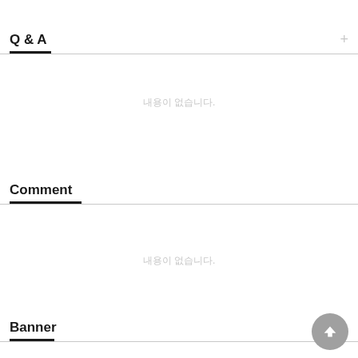Q & A
내용이 없습니다.
Comment
내용이 없습니다.
Banner